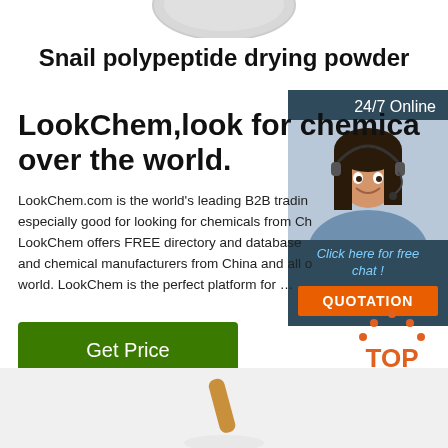[Figure (photo): Top portion of a container/jar product image cropped at the top of the page]
Snail polypeptide drying powder
LookChem,look for chemicals all over the world.
LookChem.com is the world's leading B2B trading platform, especially good for looking for chemicals from China. LookChem offers FREE directory and database of chemicals and chemical manufacturers from China and all over the world. LookChem is the perfect platform for …
[Figure (photo): Customer service representative woman with headset, with '24/7 Online' header and 'Click here for free chat!' text and orange QUOTATION button]
Get Price
[Figure (logo): Orange TOP badge/logo with dots above the letters]
[Figure (photo): Bottom product image, partially visible, showing a spoon or spatula with white powder]